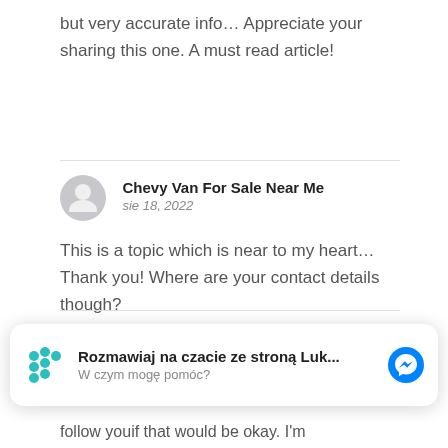but very accurate info... Appreciate your sharing this one. A must read article!
Chevy Van For Sale Near Me
sie 18, 2022

This is a topic which is near to my heart... Thank you! Where are your contact details though?
hire a hacker
Rozmawiaj na czacie ze stroną Luk...
W czym mogę pomóc?
follow youif that would be okay. I'm